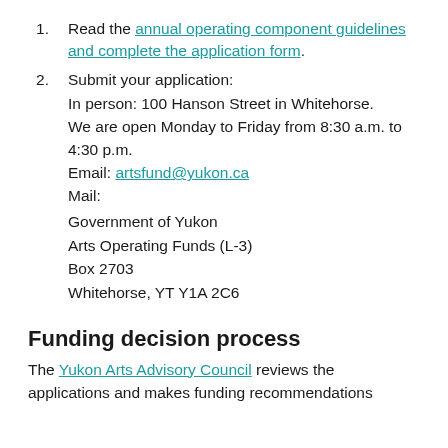Read the annual operating component guidelines and complete the application form.
Submit your application: In person: 100 Hanson Street in Whitehorse. We are open Monday to Friday from 8:30 a.m. to 4:30 p.m. Email: artsfund@yukon.ca Mail: Government of Yukon Arts Operating Funds (L-3) Box 2703 Whitehorse, YT Y1A 2C6
Funding decision process
The Yukon Arts Advisory Council reviews the applications and makes funding recommendations